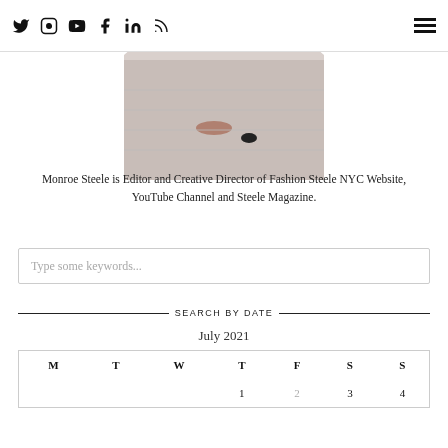Social media icons: Twitter, Instagram, YouTube, Facebook, LinkedIn, RSS | Hamburger menu
[Figure (photo): Circular cropped photo showing shoes on a wooden floor, top portion cropped by page edge]
Monroe Steele is Editor and Creative Director of Fashion Steele NYC Website, YouTube Channel and Steele Magazine.
Type some keywords...
SEARCH BY DATE
July 2021
| M | T | W | T | F | S | S |
| --- | --- | --- | --- | --- | --- | --- |
|  |  |  | 1 | 2 | 3 | 4 |